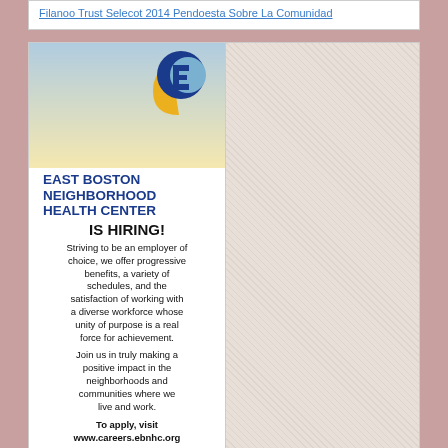Filanoo Trust Selecot 2014 Pendoesta Sobre La Comunidad
[Figure (illustration): East Boston Neighborhood Health Center advertisement. Features blue and gold circular logo with stylized 'E' shape. Gradient background from blue to yellow. Text reads: EAST BOSTON NEIGHBORHOOD HEALTH CENTER IS HIRING! Striving to be an employer of choice, we offer progressive benefits, a variety of schedules, and the satisfaction of working with a diverse workforce whose unity of purpose is a real force for achievement. Join us in truly making a positive impact in the neighborhoods and communities where we live and work. To apply, visit www.careers.ebnhc.org. Benefits include: (teal bar at bottom)]